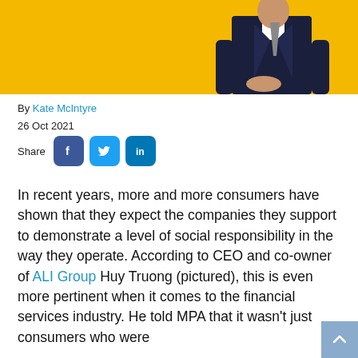[Figure (photo): Person in dark suit standing against yellow background, partially visible at top of page]
By Kate McIntyre
26 Oct 2021
Share [Facebook] [Twitter] [LinkedIn]
In recent years, more and more consumers have shown that they expect the companies they support to demonstrate a level of social responsibility in the way they operate. According to CEO and co-owner of ALI Group Huy Truong (pictured), this is even more pertinent when it comes to the financial services industry. He told MPA that it wasn't just consumers who were